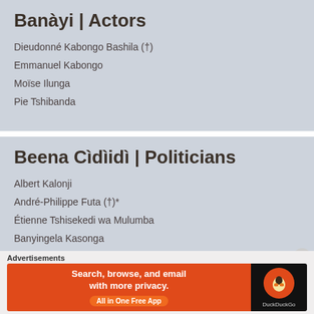Banàyi | Actors
Dieudonné Kabongo Bashila (†)
Emmanuel Kabongo
Moïse Ilunga
Pie Tshibanda
Beena Cìdìidì | Politicians
Albert Kalonji
André-Philippe Futa (†)*
Étienne Tshisekedi wa Mulumba
Banyingela Kasonga
[truncated line]
Advertisements
[Figure (screenshot): DuckDuckGo advertisement banner: 'Search, browse, and email with more privacy. All in One Free App' with DuckDuckGo logo on black background.]